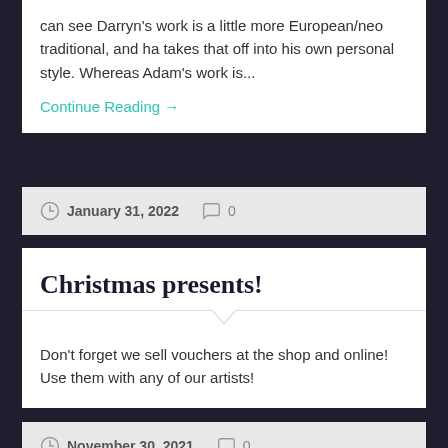can see Darryn's work is a little more European/neo traditional, and ha takes that off into his own personal style. Whereas Adam's work is...
Continue Reading →
January 31, 2022   0
Christmas presents!
Don't forget we sell vouchers at the shop and online! Use them with any of our artists!
November 30, 2021   0